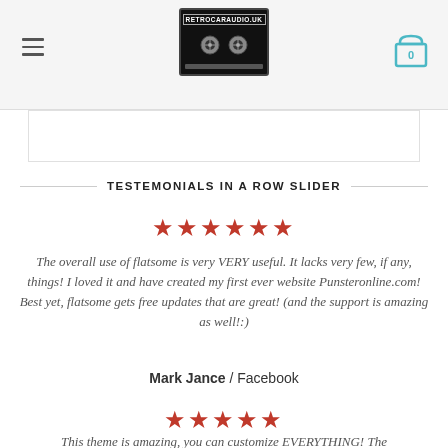RETROCARAUDIO.UK — navigation header with logo and cart
TESTEMONIALS IN A ROW SLIDER
[Figure (other): 5 orange/red star rating icons]
The overall use of flatsome is very VERY useful. It lacks very few, if any, things! I loved it and have created my first ever website Punsteronline.com! Best yet, flatsome gets free updates that are great! (and the support is amazing as well!:)
Mark Jance / Facebook
[Figure (other): 5 orange/red star rating icons]
This theme is amazing, you can customize EVERYTHING! The